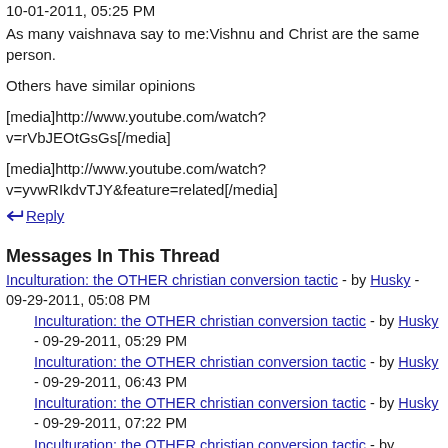10-01-2011, 05:25 PM
As many vaishnava say to me:Vishnu and Christ are the same person.
Others have similar opinions
[media]http://www.youtube.com/watch?v=rVbJEOtGsGs[/media]
[media]http://www.youtube.com/watch?v=yvwRIkdvTJY&feature=related[/media]
Reply
Messages In This Thread
Inculturation: the OTHER christian conversion tactic - by Husky - 09-29-2011, 05:08 PM
Inculturation: the OTHER christian conversion tactic - by Husky - 09-29-2011, 05:29 PM
Inculturation: the OTHER christian conversion tactic - by Husky - 09-29-2011, 06:43 PM
Inculturation: the OTHER christian conversion tactic - by Husky - 09-29-2011, 07:22 PM
Inculturation: the OTHER christian conversion tactic - by